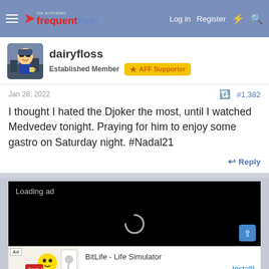The Australian Frequent Flyer — Log in  Register
[Figure (screenshot): User avatar for dairyfloss — cartoon character with sunglasses holding a drink]
dairyfloss
Established Member  ☆ AFF Supporter
Jan 28, 2022   #1,382
I thought I hated the Djoker the most, until I watched Medvedev tonight. Praying for him to enjoy some gastro on Saturday night. #Nadal21
↩ Reply
[Figure (screenshot): Loading ad — black video player area with loading spinner and BitLife – Life Simulator advertisement banner at the bottom]